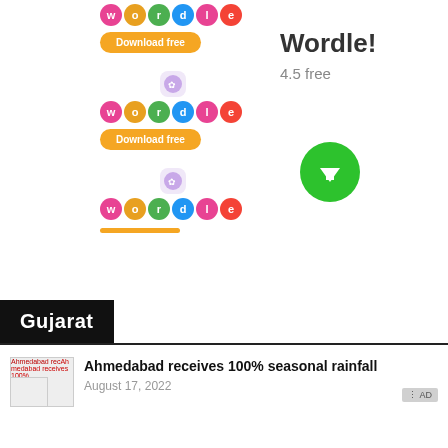[Figure (screenshot): App advertisement for Wordle! game showing app logo rows with colored letter circles, download buttons, app icon, rating 4.5 free, and green download button]
Gujarat
[Figure (photo): Thumbnail image for Ahmedabad news article]
Ahmedabad receives 100% seasonal rainfall
August 17, 2022